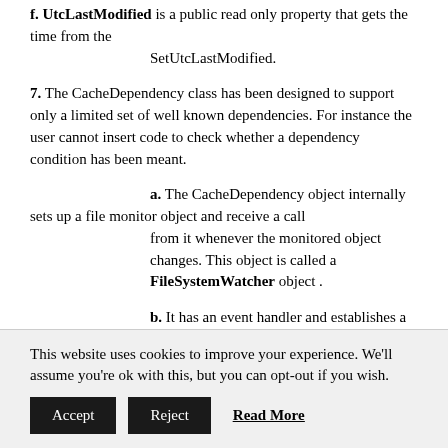f. UtcLastModified is a public read only property that gets the time from the SetUtcLastModified.
7. The CacheDependency class has been designed to support only a limited set of well known dependencies. For instance the user cannot insert code to check whether a dependency condition has been meant.
a. The CacheDependency object internally sets up a file monitor object and receive a call from it whenever the monitored object changes. This object is called a FileSystemWatcher object .
b. It has an event handler and establishes a link
This website uses cookies to improve your experience. We'll assume you're ok with this, but you can opt-out if you wish.